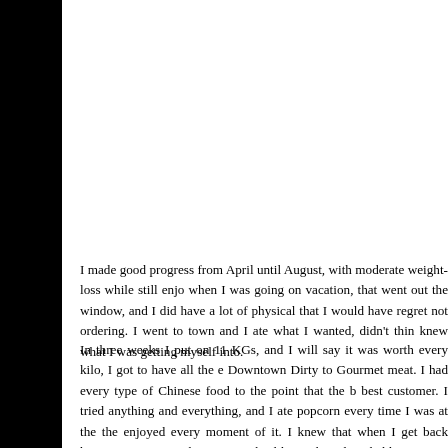I made good progress from April until August, with moderate weight-loss while still enjo when I was going on vacation, that went out the window, and I did have a lot of physical that I would have regret not ordering. I went to town and I ate what I wanted, didn't thin knew what I was getting myself into.
In three weeks I put on 11 KGs, and I will say it was worth every kilo, I got to have all the Downtown Dirty to Gourmet meat. I had every type of Chinese food to the point that the best customer. I tried anything and everything, and I ate popcorn every time I was at the the enjoyed every moment of it. I knew that when I get back home I'm going to have to eat healthy path and probably regret it later, but at the moment I was a very happy man.